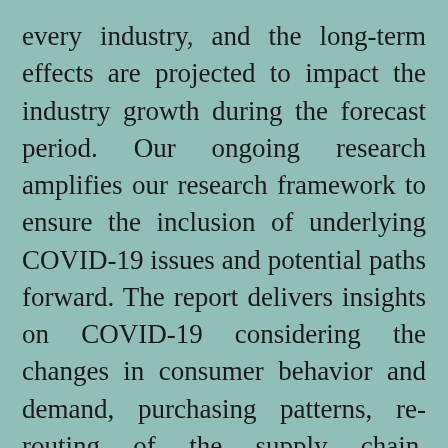every industry, and the long-term effects are projected to impact the industry growth during the forecast period. Our ongoing research amplifies our research framework to ensure the inclusion of underlying COVID-19 issues and potential paths forward. The report delivers insights on COVID-19 considering the changes in consumer behavior and demand, purchasing patterns, re-routing of the supply chain, dynamics of current Barrier Bags Market forces, and the significant interventions of governments. The updated study provides insights, analysis, estimations, and forecasts,